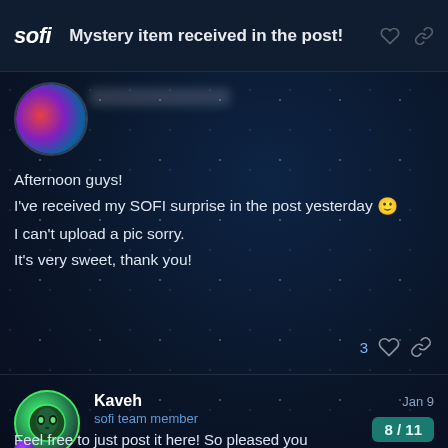Mystery item received in the post!
[Figure (photo): Circular avatar with colorful psychedelic hair/face illustration on dark background]
Afternoon guys!
I've received my SOFI surprise in the post yesterday 🙂
I can't upload a pic sorry.
It's very sweet, thank you!
3 likes
Kaveh
sofi team member
Jan 9
[Figure (illustration): Circular avatar with green glowing face/mask illustration and purple gem badge]
8 / 11
Feel free to just post it here! So pleased you like! X